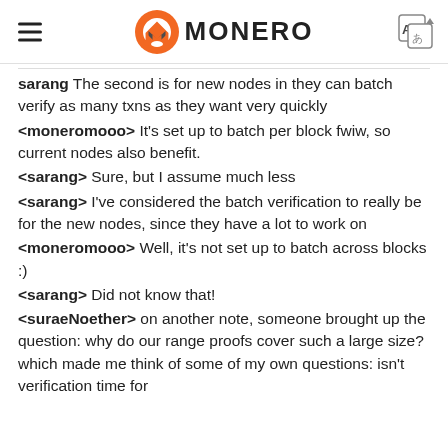MONERO
sarang  The second is for new nodes in they can batch verify as many txns as they want very quickly
<moneromooo> It's set up to batch per block fwiw, so current nodes also benefit.
<sarang> Sure, but I assume much less
<sarang> I've considered the batch verification to really be for the new nodes, since they have a lot to work on
<moneromooo> Well, it's not set up to batch across blocks :)
<sarang> Did not know that!
<suraeNoether> on another note, someone brought up the question: why do our range proofs cover such a large size? which made me think of some of my own questions: isn't verification time for